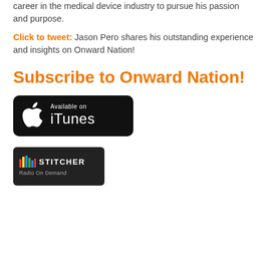career in the medical device industry to pursue his passion and purpose.
Click to tweet: Jason Pero shares his outstanding experience and insights on Onward Nation!
Subscribe to Onward Nation!
[Figure (logo): Available on iTunes badge — black rounded rectangle with Apple logo and 'Available on iTunes' text in white]
[Figure (logo): Stitcher Radio On Demand badge — dark rounded rectangle with colored bar graph logo, 'STITCHER' text, and 'Radio On Demand' subtitle in white/grey]